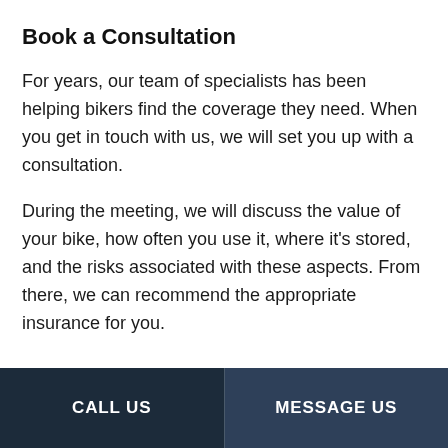Book a Consultation
For years, our team of specialists has been helping bikers find the coverage they need. When you get in touch with us, we will set you up with a consultation.
During the meeting, we will discuss the value of your bike, how often you use it, where it’s stored, and the risks associated with these aspects. From there, we can recommend the appropriate insurance for you.
General Motorcycle Insurance Packages
There are several types of motorcycle insurance
CALL US | MESSAGE US